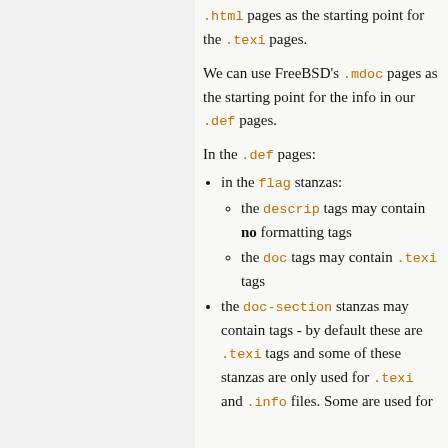.html pages as the starting point for the .texi pages.
We can use FreeBSD's .mdoc pages as the starting point for the info in our .def pages.
In the .def pages:
in the flag stanzas:
the descrip tags may contain no formatting tags
the doc tags may contain .texi tags
the doc-section stanzas may contain tags - by default these are .texi tags and some of these stanzas are only used for .texi and .info files. Some are used for